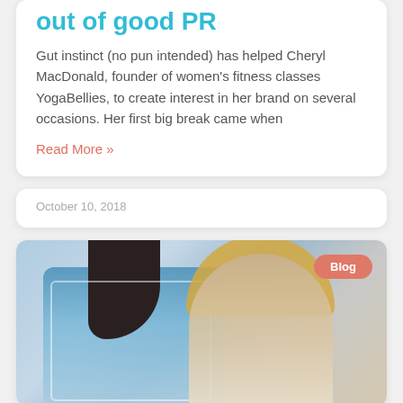out of good PR
Gut instinct (no pun intended) has helped Cheryl MacDonald, founder of women's fitness classes YogaBellies, to create interest in her brand on several occasions. Her first big break came when
Read More »
October 10, 2018
[Figure (photo): A photo showing a person with blonde hair on the right side and a dark object/shape on the upper left, with a blue-tinted background. A pink 'Blog' badge is overlaid in the upper right corner of the image.]